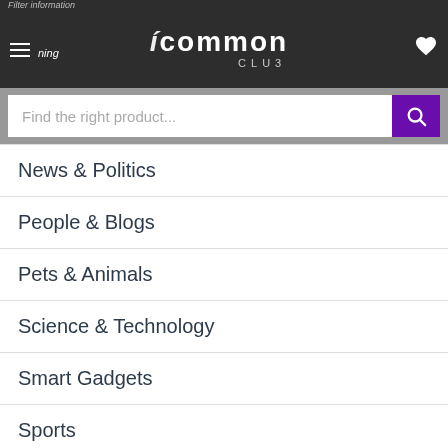icommon CLUB
[Figure (screenshot): Search bar with placeholder 'Find the right product...' and purple search button]
News & Politics
People & Blogs
Pets & Animals
Science & Technology
Smart Gadgets
Sports
Travel & Events
RE English